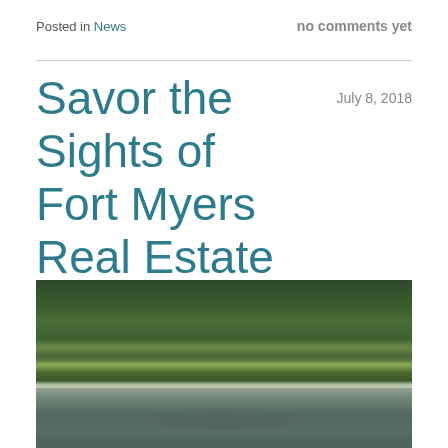Posted in News
no comments yet
Savor the Sights of Fort Myers Real Estate
July 8, 2018
[Figure (photo): A natural Florida waterway scene with lush green tropical vegetation along the banks and calm water reflecting the trees; a manatee is visible beneath the surface of the water in the foreground.]